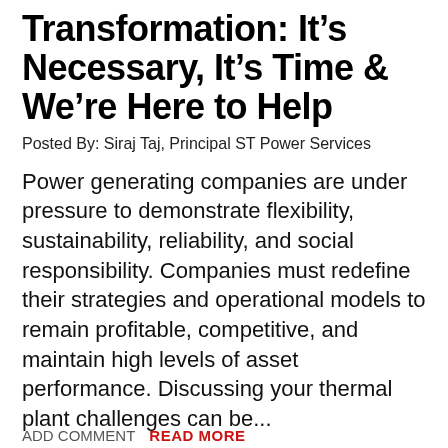Transformation: It's Necessary, It's Time & We're Here to Help
Posted By: Siraj Taj, Principal ST Power Services
Power generating companies are under pressure to demonstrate flexibility, sustainability, reliability, and social responsibility. Companies must redefine their strategies and operational models to remain profitable, competitive, and maintain high levels of asset performance. Discussing your thermal plant challenges can be...
Asset Performance Management • Business Development    Power Generation Forecast •  •  Renewable Energy Sources     The Impact of Renewables     Thermal Plant Transformation •  Total Plant Optimization     Variable Power Sources
ADD COMMENT   READ MORE